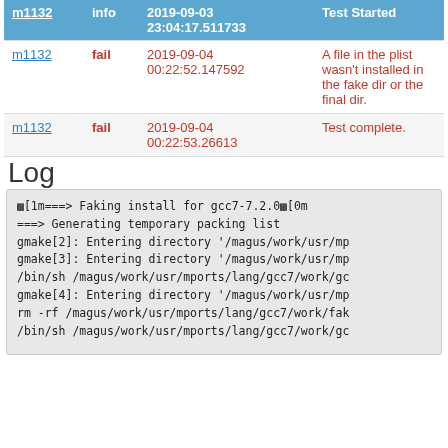|  |  |  |  |
| --- | --- | --- | --- |
| m1132 | info | 2019-09-03 23:04:17.511733 | Test Started |
| m1132 | fail | 2019-09-04 00:22:52.147592 | A file in the plist wasn't installed in the fake dir or the final dir. |
| m1132 | fail | 2019-09-04 00:22:53.26613 | Test complete. |
Log
[1m===>  Faking install for gcc7-7.2.0[0m
===>   Generating temporary packing list
gmake[2]: Entering directory '/magus/work/usr/mp
gmake[3]: Entering directory '/magus/work/usr/mp
/bin/sh /magus/work/usr/mports/lang/gcc7/work/gc
gmake[4]: Entering directory '/magus/work/usr/mp
rm -rf /magus/work/usr/mports/lang/gcc7/work/fak
/bin/sh /magus/work/usr/mports/lang/gcc7/work/gc